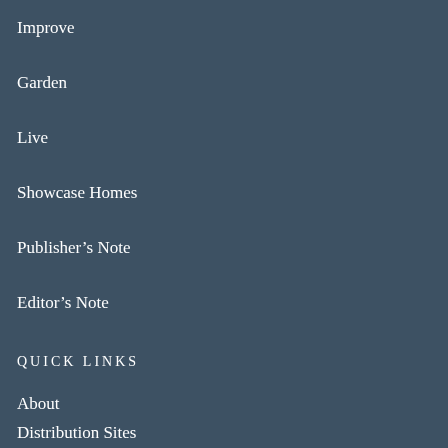Improve
Garden
Live
Showcase Homes
Publisher's Note
Editor's Note
QUICK LINKS
About
Distribution Sites
Advertisers
Subscribe